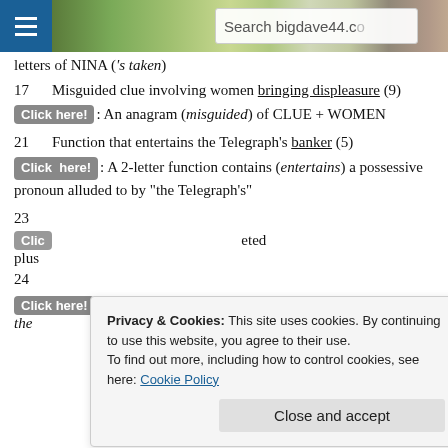Search bigdave44.co
letters of NINA ('s taken)
17   Misguided clue involving women bringing displeasure (9)
Click here!: An anagram (misguided) of CLUE + WOMEN
21   Function that entertains the Telegraph's banker (5)
Click here!: A 2-letter function contains (entertains) a possessive pronoun alluded to by “the Telegraph’s”
23
Click here!  ...eted plus
24
Privacy & Cookies: This site uses cookies. By continuing to use this website, you agree to their use. To find out more, including how to control cookies, see here: Cookie Policy
Click here!: A 3-letter park written forwards and backwards (from the